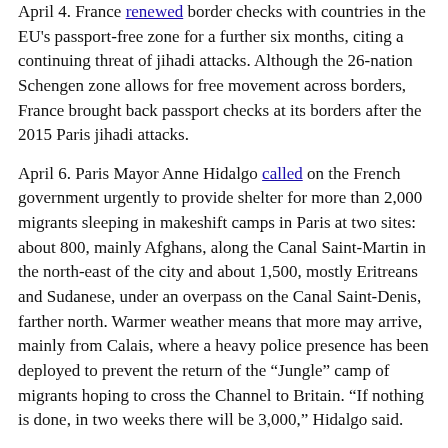April 4. France renewed border checks with countries in the EU's passport-free zone for a further six months, citing a continuing threat of jihadi attacks. Although the 26-nation Schengen zone allows for free movement across borders, France brought back passport checks at its borders after the 2015 Paris jihadi attacks.
April 6. Paris Mayor Anne Hidalgo called on the French government urgently to provide shelter for more than 2,000 migrants sleeping in makeshift camps in Paris at two sites: about 800, mainly Afghans, along the Canal Saint-Martin in the north-east of the city and about 1,500, mostly Eritreans and Sudanese, under an overpass on the Canal Saint-Denis, farther north. Warmer weather means that more may arrive, mainly from Calais, where a heavy police presence has been deployed to prevent the return of the "Jungle" camp of migrants hoping to cross the Channel to Britain. "If nothing is done, in two weeks there will be 3,000," Hidalgo said.
April 9. President Emmanuel Macron caused an uproar after he said that he wanted to repair church-state ties. In a speech to the Bishops' Conference of France at College des Bernardins in Paris, Macron said that "a president of the French republic who takes no interest in the Church and its Catholics would be failing in his duty." In a tweet, the newly-installed Socialist Party leader, Olivier Faure, wrote: "Secularism is the jewel in our crown. That is what a president of the republic should be defending." Jean-Luc